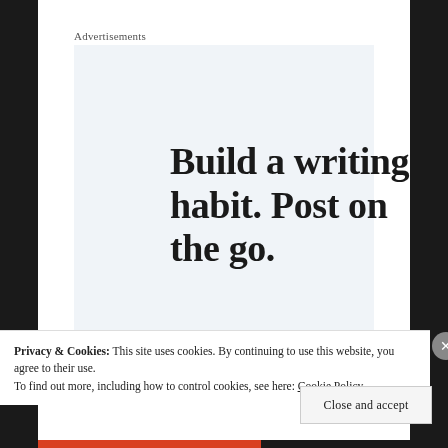Advertisements
[Figure (illustration): Advertisement banner with light blue-gray background. Large serif bold text reads 'Build a writing habit. Post on the go.' followed by blue uppercase text 'GET THE APP']
Privacy & Cookies: This site uses cookies. By continuing to use this website, you agree to their use.
To find out more, including how to control cookies, see here: Cookie Policy
Close and accept